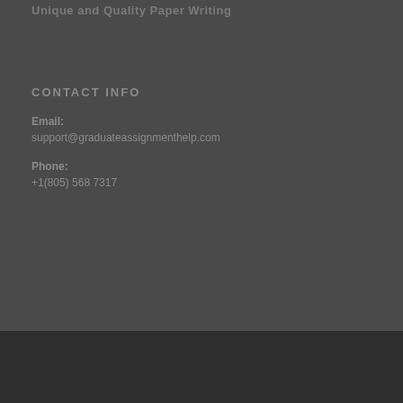Unique and Quality Paper Writing
CONTACT INFO
Email:
support@graduateassignmenthelp.com
Phone:
+1(805) 568 7317
© Copyright 2019 Graduate Assignment Help
FREQUENT ASKED QUESTIONS    PRIVACY POLICY
TERMS AND CONDITION